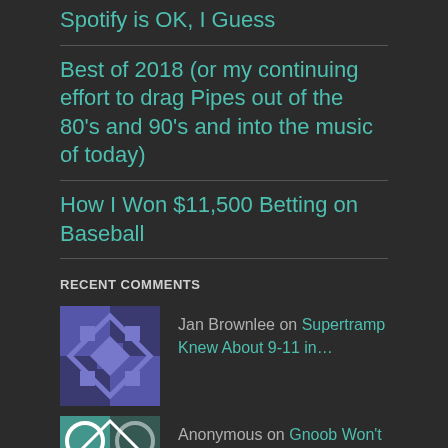Spotify is OK, I Guess
Best of 2018 (or my continuing effort to drag Pipes out of the 80's and 90's and into the music of today)
How I Won $11,500 Betting on Baseball
RECENT COMMENTS
Jan Brownlee on Supertramp Knew About 9-11 in…
Anonymous on Gnoob Won't Blog
Mongo on Did I Get Roofied in Cabo, or…
Anonymous on Did I Get Roofied in Cabo, or…